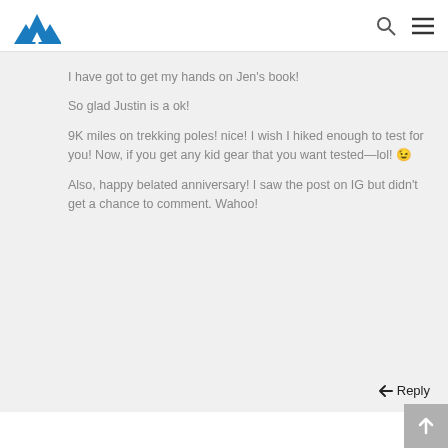I have got to get my hands on Jen's book!
So glad Justin is a ok!
9K miles on trekking poles! nice! I wish I hiked enough to test for you! Now, if you get any kid gear that you want tested—lol! 😉
Also, happy belated anniversary! I saw the post on IG but didn't get a chance to comment. Wahoo!
Reply